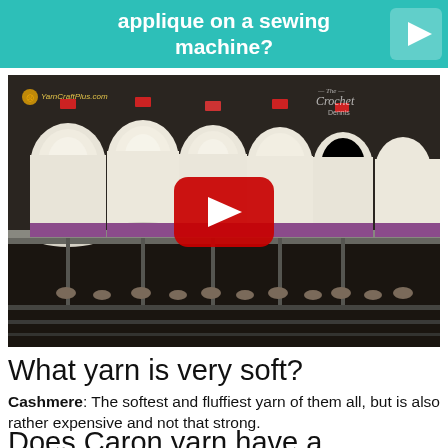applique on a sewing machine?
[Figure (screenshot): YouTube video thumbnail showing large yarn spools on industrial spinning machinery in a factory setting, with a red YouTube play button overlay. Watermarks: 'YarnCraftPlus.com' on the left and 'The Crochet Dennis' on the right.]
What yarn is very soft?
Cashmere: The softest and fluffiest yarn of them all, but is also rather expensive and not that strong.
Does Caron yarn have a